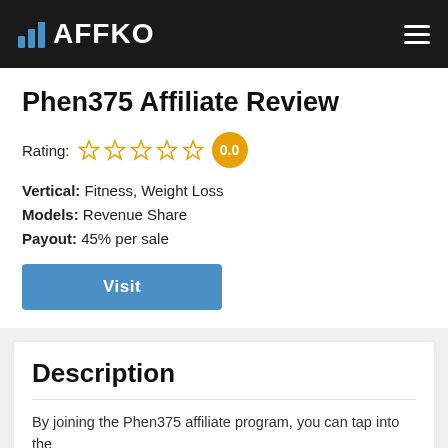AFFKO
Phen375 Affiliate Review
Rating: 0.0
Vertical: Fitness, Weight Loss
Models: Revenue Share
Payout: 45% per sale
Visit
Description
By joining the Phen375 affiliate program, you can tap into the